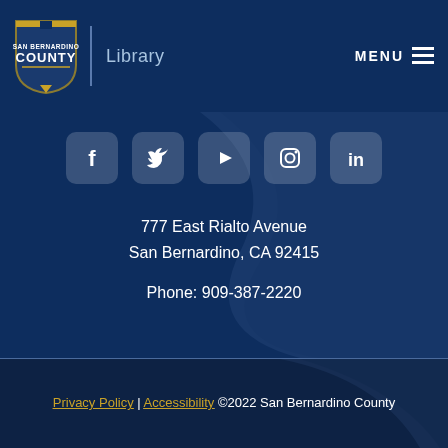San Bernardino County Library — MENU
[Figure (logo): San Bernardino County shield logo with gold and white text]
[Figure (infographic): Social media icons: Facebook, Twitter, YouTube, Instagram, LinkedIn]
777 East Rialto Avenue
San Bernardino, CA 92415
Phone: 909-387-2220
Privacy Policy | Accessibility ©2022 San Bernardino County